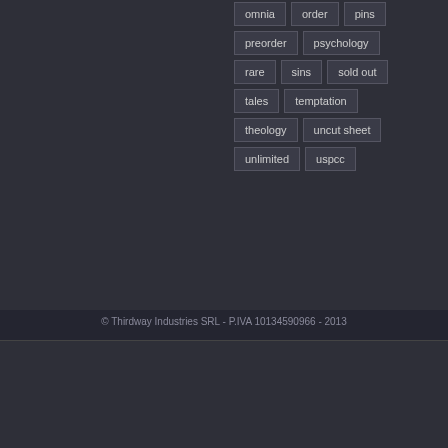omnia
order
pins
preorder
psychology
rare
sins
sold out
tales
temptation
theology
uncut sheet
unlimited
uspcc
© Thirdway Industries SRL - P.IVA 10134590966 - 2013
We use cookies to ensure that we give you the best experience on our website. If you continue to use this site we will assume that you are happy with it.
Ok  Read more